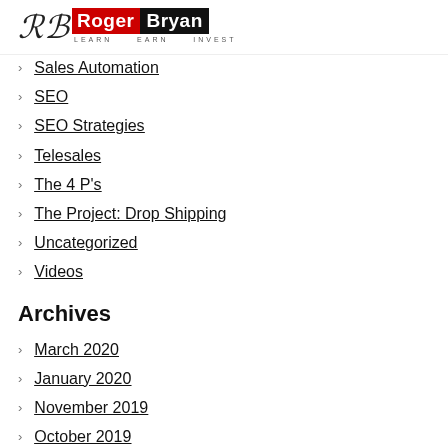Roger Bryan — Learn Earn Invest
Sales Automation
SEO
SEO Strategies
Telesales
The 4 P's
The Project: Drop Shipping
Uncategorized
Videos
Archives
March 2020
January 2020
November 2019
October 2019
August 2019